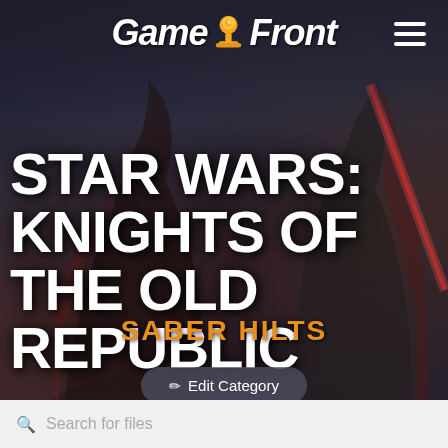[Figure (screenshot): GameFront website screenshot showing Star Wars Knights of the Old Republic Saber Hilts category page with dark background featuring Sith figures silhouettes]
Game Front
STAR WARS: KNIGHTS OF THE OLD REPUBLIC
SABER HILTS
✏ Edit Category
Search for files